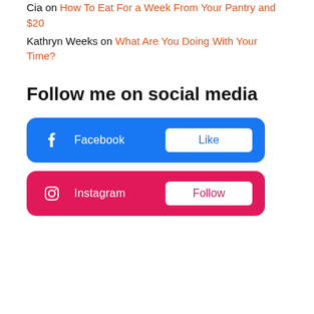Cia on How To Eat For a Week From Your Pantry and $20
Kathryn Weeks on What Are You Doing With Your Time?
Follow me on social media
[Figure (infographic): Facebook social media button with Facebook icon, label 'Facebook', and a white 'Like' button on a blue rounded rectangle background.]
[Figure (infographic): Instagram social media button with Instagram icon, label 'Instagram', and a white 'Follow' button on a pink/red rounded rectangle background.]